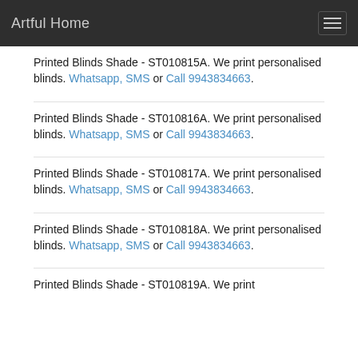Artful Home
Printed Blinds Shade - ST010815A. We print personalised blinds. Whatsapp, SMS or Call 9943834663.
Printed Blinds Shade - ST010816A. We print personalised blinds. Whatsapp, SMS or Call 9943834663.
Printed Blinds Shade - ST010817A. We print personalised blinds. Whatsapp, SMS or Call 9943834663.
Printed Blinds Shade - ST010818A. We print personalised blinds. Whatsapp, SMS or Call 9943834663.
Printed Blinds Shade - ST010819A. We print...